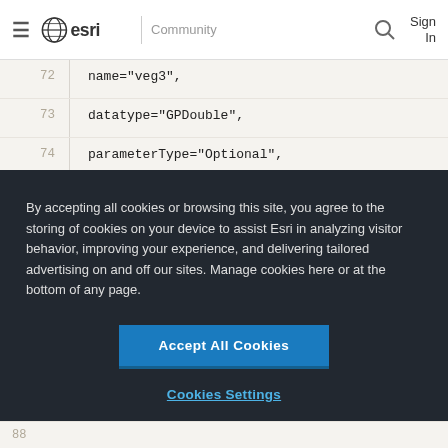≡  esri | Community   🔍  Sign In
[Figure (screenshot): Code editor showing lines 72-75 with Python/arcpy code: name="veg3", datatype="GPDouble", parameterType="Optional", direction="Input",)]
By accepting all cookies or browsing this site, you agree to the storing of cookies on your device to assist Esri in analyzing visitor behavior, improving your experience, and delivering tailored advertising on and off our sites. Manage cookies here or at the bottom of any page.
Accept All Cookies
Cookies Settings